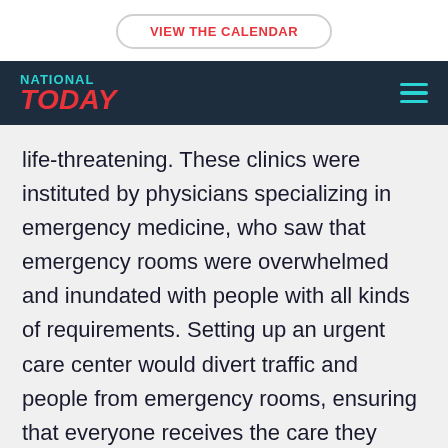VIEW THE CALENDAR
NATIONAL TODAY
life-threatening. These clinics were instituted by physicians specializing in emergency medicine, who saw that emergency rooms were overwhelmed and inundated with people with all kinds of requirements. Setting up an urgent care center would divert traffic and people from emergency rooms, ensuring that everyone receives the care they need at the right time.
[Figure (other): Social share buttons: Pinterest (red), Twitter (blue), Facebook (dark blue)]